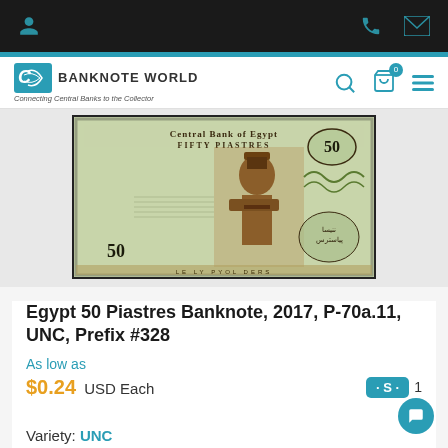Banknote World — Connecting Central Banks to the Collector
[Figure (photo): Egypt 50 Piastres banknote showing Central Bank of Egypt text, FIFTY PIASTRES, an Egyptian figure in traditional dress, and the number 50 on both sides]
Egypt 50 Piastres Banknote, 2017, P-70a.11, UNC, Prefix #328
As low as
$0.24 USD Each
Variety: UNC
Wishlist